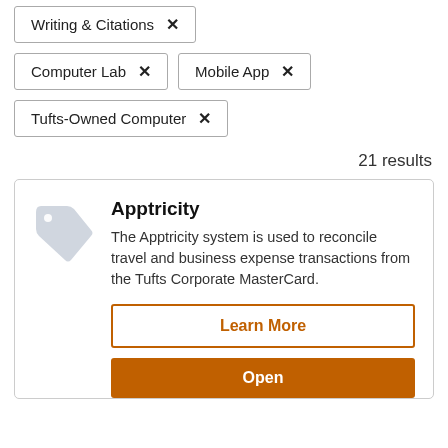Writing & Citations ×
Computer Lab ×
Mobile App ×
Tufts-Owned Computer ×
21 results
Apptricity
The Apptricity system is used to reconcile travel and business expense transactions from the Tufts Corporate MasterCard.
Learn More
Open